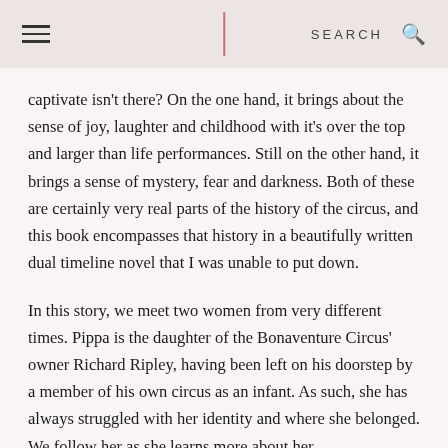SEARCH
captivate isn't there? On the one hand, it brings about the sense of joy, laughter and childhood with it's over the top and larger than life performances. Still on the other hand, it brings a sense of mystery, fear and darkness. Both of these are certainly very real parts of the history of the circus, and this book encompasses that history in a beautifully written dual timeline novel that I was unable to put down.
In this story, we meet two women from very different times. Pippa is the daughter of the Bonaventure Circus' owner Richard Ripley, having been left on his doorstep by a member of his own circus as an infant. As such, she has always struggled with her identity and where she belonged. We follow her as she learns more about her